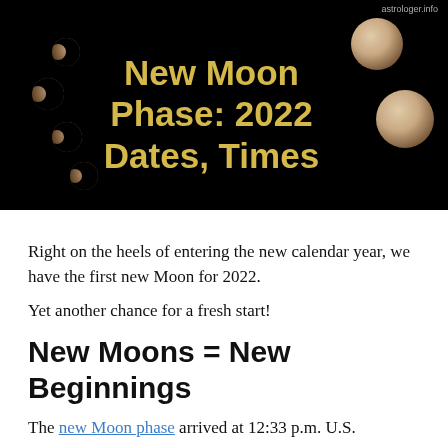[Figure (illustration): Dark/black background image showing moon phases from crescent to full moon, with golden-yellow bold text reading 'New Moon Phase: 2022 Dates, Times' centered, and small watermark text 'astrologer.info' in upper right area.]
Right on the heels of entering the new calendar year, we have the first new Moon for 2022.
Yet another chance for a fresh start!
New Moons = New Beginnings
The new Moon phase arrived at 12:33 p.m. U.S.